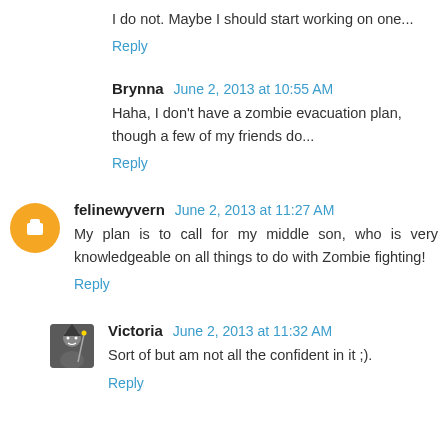I do not. Maybe I should start working on one...
Reply
Brynna June 2, 2013 at 10:55 AM
Haha, I don't have a zombie evacuation plan, though a few of my friends do...
Reply
felinewyvern June 2, 2013 at 11:27 AM
My plan is to call for my middle son, who is very knowledgeable on all things to do with Zombie fighting!
Reply
Victoria June 2, 2013 at 11:32 AM
Sort of but am not all the confident in it ;).
Reply